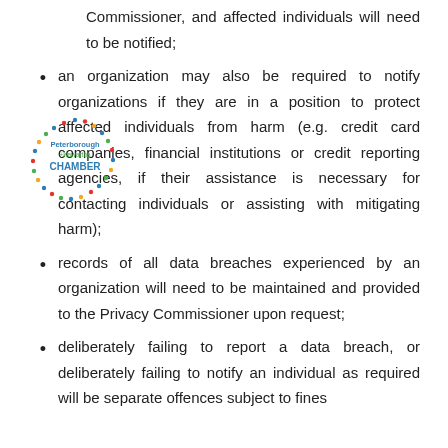Commissioner, and affected individuals will need to be notified;
[Figure (logo): Peterborough + Kawartha Chamber logo with circular dotted border and text]
an organization may also be required to notify organizations if they are in a position to protect affected individuals from harm (e.g. credit card companies, financial institutions or credit reporting agencies, if their assistance is necessary for contacting individuals or assisting with mitigating harm);
records of all data breaches experienced by an organization will need to be maintained and provided to the Privacy Commissioner upon request;
deliberately failing to report a data breach, or deliberately failing to notify an individual as required will be separate offences subject to fines